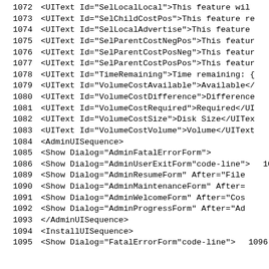1072   <UIText Id="SelLocalLocal">This feature wil
1073   <UIText Id="SelChildCostPos">This feature re
1074   <UIText Id="SelLocalAdvertise">This feature
1075   <UIText Id="SelParentCostNegPos">This featur
1076   <UIText Id="SelParentCostPosNeg">This featur
1077   <UIText Id="SelParentCostPosPos">This featur
1078   <UIText Id="TimeRemaining">Time remaining: {
1079   <UIText Id="VolumeCostAvailable">Available</
1080   <UIText Id="VolumeCostDifference">Difference
1081   <UIText Id="VolumeCostRequired">Required</UI
1082   <UIText Id="VolumeCostSize">Disk Size</UITex
1083   <UIText Id="VolumeCostVolume">Volume</UIText
1084   <AdminUISequence>
1085      <Show Dialog="AdminFatalErrorForm" OnExit=
1086      <Show Dialog="AdminUserExitForm" OnExit="c
1087      <Show Dialog="AdminFinishedForm" OnExit="s
1088      <Custom Action="DIRCA_TARGETDIR" Before="C
1089      <Show Dialog="AdminResumeForm" After="File
1090      <Show Dialog="AdminMaintenanceForm" After=
1091      <Show Dialog="AdminWelcomeForm" After="Cos
1092      <Show Dialog="AdminProgressForm" After="Ad
1093   </AdminUISequence>
1094   <InstallUISequence>
1095      <Show Dialog="FatalErrorForm" OnExit="erro
1096      <Show Dialog="UserExitForm" OnExit="cancel
1097      <Show Dialog="FinishedForm" OnExit="succes
1098      <Custom Action="ERRCA_UTANDADVERTISED" Be